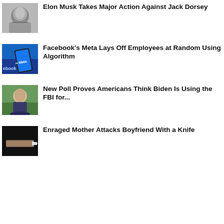[Figure (photo): Photo of Elon Musk]
Elon Musk Takes Major Action Against Jack Dorsey
[Figure (photo): Photo of a hand holding a phone showing Meta logo with Facebook in background]
Facebook's Meta Lays Off Employees at Random Using Algorithm
[Figure (photo): Photo of President Biden speaking]
New Poll Proves Americans Think Biden Is Using the FBI for...
[Figure (photo): Photo of hands holding a knife on black background]
Enraged Mother Attacks Boyfriend With a Knife